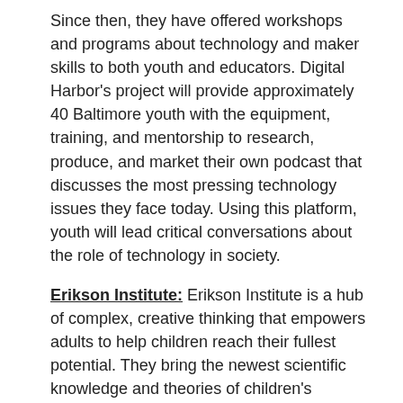Since then, they have offered workshops and programs about technology and maker skills to both youth and educators. Digital Harbor's project will provide approximately 40 Baltimore youth with the equipment, training, and mentorship to research, produce, and market their own podcast that discusses the most pressing technology issues they face today. Using this platform, youth will lead critical conversations about the role of technology in society.
Erikson Institute: Erikson Institute is a hub of complex, creative thinking that empowers adults to help children reach their fullest potential. They bring the newest scientific knowledge and theories of children's development and learning into graduate education, professional training, community programs, and policymaking. Their project uses teen voices and experiences to research, develop, and